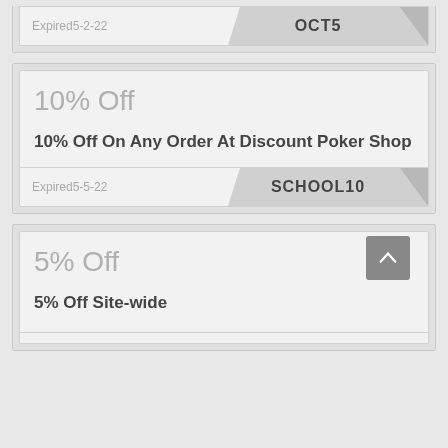Expired5-2-22
OCT5
10% Off
10% Off On Any Order At Discount Poker Shop
Expired5-5-22
SCHOOL10
5% Off
5% Off Site-wide